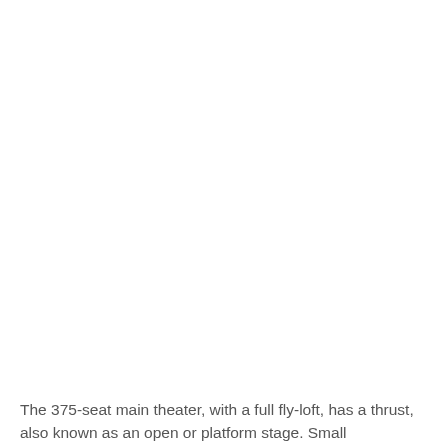The 375-seat main theater, with a full fly-loft, has a thrust, also known as an open or platform stage. Small